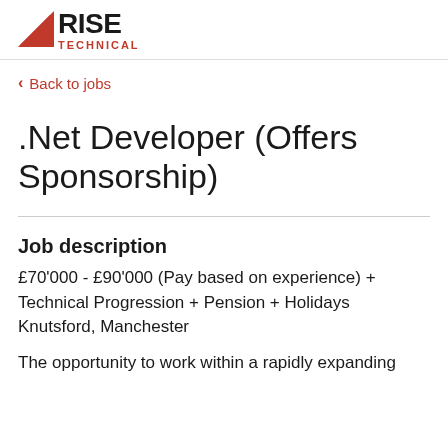[Figure (logo): Rise Technical logo with red triangle and bold RISE text with TECHNICAL subtitle in red]
‹   Back to jobs
.Net Developer (Offers Sponsorship)
Job description
£70'000 - £90'000 (Pay based on experience) + Technical Progression + Pension + Holidays
Knutsford, Manchester
The opportunity to work within a rapidly expanding